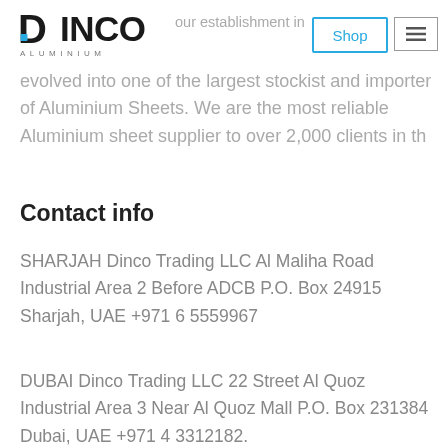DINCO ALUMINIUM - Shop / Menu
our establishment in 1997, we have evolved into one of the largest stockist and importer of Aluminium Sheets. We are the most reliable Aluminium sheet supplier to over 2,000 clients in th
Contact info
SHARJAH Dinco Trading LLC Al Maliha Road Industrial Area 2 Before ADCB P.O. Box 24915 Sharjah, UAE +971 6 5559967
DUBAI Dinco Trading LLC 22 Street Al Quoz Industrial Area 3 Near Al Quoz Mall P.O. Box 231384 Dubai, UAE +971 4 3312182.
Quick links
About
Resources